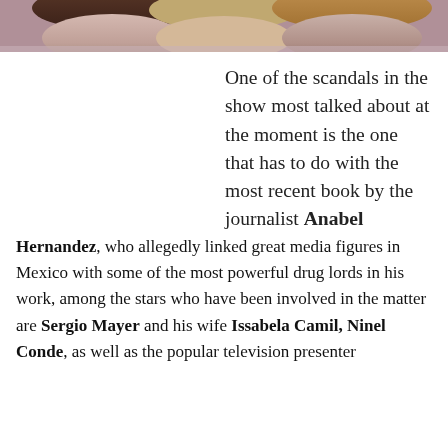[Figure (photo): Cropped photo strip showing faces/shoulders of people at the top of the page]
One of the scandals in the show most talked about at the moment is the one that has to do with the most recent book by the journalist Anabel Hernandez, who allegedly linked great media figures in Mexico with some of the most powerful drug lords in his work, among the stars who have been involved in the matter are Sergio Mayer and his wife Issabela Camil, Ninel Conde, as well as the popular television presenter